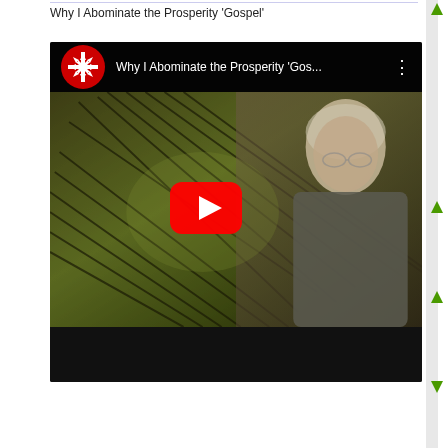Why I Abominate the Prosperity ‘Gospel’
[Figure (screenshot): YouTube video player screenshot showing a video titled 'Why I Abominate the Prosperity ‘Gos...' with a YouTube logo/icon on the left, three-dot menu on the right, and a thumbnail showing an older man in a grey shirt sitting against a textured dark background with shadow patterns. A red YouTube play button is centered on the thumbnail. The bottom portion is a dark black control bar area.]